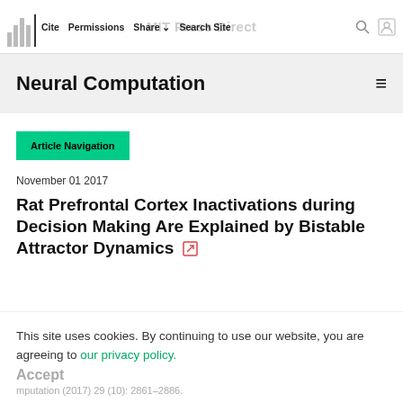MIT Press Direct | Cite | Permissions | Share | Search Site
Neural Computation
Article Navigation
November 01 2017
Rat Prefrontal Cortex Inactivations during Decision Making Are Explained by Bistable Attractor Dynamics
This site uses cookies. By continuing to use our website, you are agreeing to our privacy policy. Accept
Neural Computation (2017) 29 (10): 2861–2886.